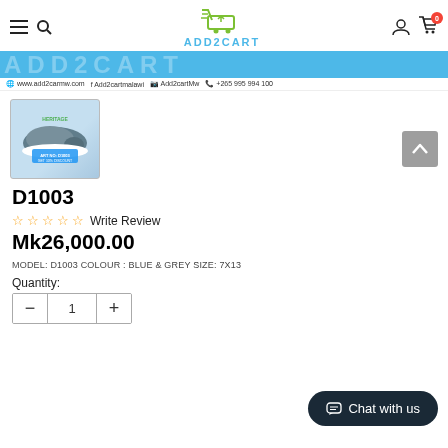ADD2CART
[Figure (logo): ADD2CART shopping cart logo with green cart icon and cyan text]
www.add2carmw.com  Add2cartmalawi  Add2cartMw  +265 995 994 100
[Figure (photo): Product thumbnail: grey slip-on shoe with blue accents, ART NO: D1003, GET 10% DISCOUNT label on light blue background]
D1003
☆ ☆ ☆ ☆ ☆ Write Review
Mk26,000.00
MODEL: D1003 COLOUR : BLUE & GREY SIZE: 7X13
Quantity:
Chat with us